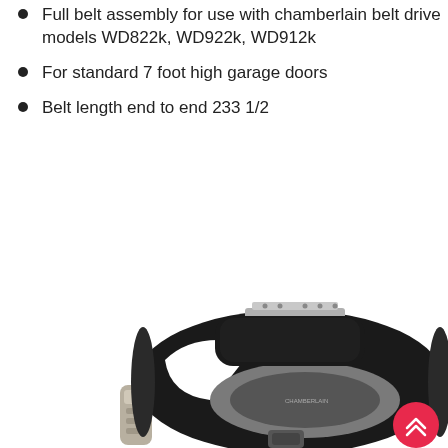Full belt assembly for use with chamberlain belt drive models WD822k, WD922k, WD912k
For standard 7 foot high garage doors
Belt length end to end 233 1/2
[Figure (photo): Photo of a Chamberlain belt drive garage door opener unit (black oval shape with white panel and gray oval face), shown from below/front angle, with a silver remote control transmitter and a small accessory visible at the bottom. A red circular scroll-to-top button appears in the bottom right.]